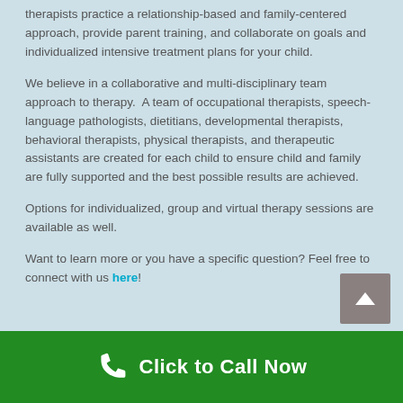therapists practice a relationship-based and family-centered approach, provide parent training, and collaborate on goals and individualized intensive treatment plans for your child.
We believe in a collaborative and multi-disciplinary team approach to therapy. A team of occupational therapists, speech-language pathologists, dietitians, developmental therapists, behavioral therapists, physical therapists, and therapeutic assistants are created for each child to ensure child and family are fully supported and the best possible results are achieved.
Options for individualized, group and virtual therapy sessions are available as well.
Want to learn more or you have a specific question? Feel free to connect with us here!
Click to Call Now